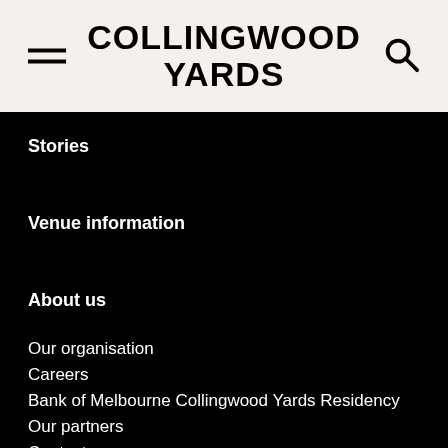COLLINGWOOD YARDS
Stories
Venue information
About us
Our organisation
Careers
Bank of Melbourne Collingwood Yards Residency
Our partners
Contact us